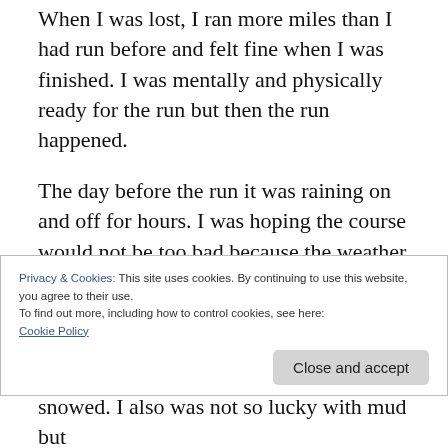When I was lost, I ran more miles than I had run before and felt fine when I was finished. I was mentally and physically ready for the run but then the run happened.
The day before the run it was raining on and off for hours. I was hoping the course would not be too bad because the weather was dry the days prior. The forecast also had a hard freeze for the morning of the run. I have run in below freezing temperatures before. I know what it
Privacy & Cookies: This site uses cookies. By continuing to use this website, you agree to their use.
To find out more, including how to control cookies, see here:
Cookie Policy
snowed. I also was not so lucky with mud but